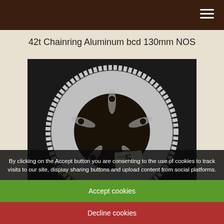42t Chainring Aluminum bcd 130mm NOS
[Figure (photo): A silver aluminum bicycle chainring with 42 teeth and 130mm bolt circle diameter (BCD), shown against a dark background. The chainring has 5 bolt holes and a sticker/label is visible. Text 'vintagebicycle.fr' watermark overlaid on the image.]
By clicking on the Accept button you are consenting to the use of cookies to track visits to our site, display sharing buttons and upload content from social platforms.
Accept cookies
Decline cookies